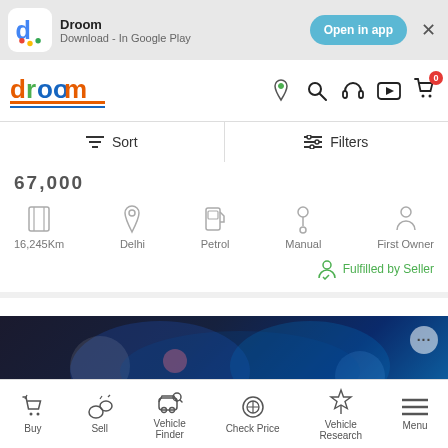[Figure (screenshot): Droom app download banner with app icon, name, Google Play label, Open in app button, and close X button]
[Figure (logo): Droom website navigation bar with logo, location pin, search, headphone, video, and cart icons]
Sort | Filters
67,000
16,245Km | Delhi | Petrol | Manual | First Owner
Fulfilled by Seller
[Figure (photo): Dark automotive/car related image with blue lighting effects showing engine or car parts]
Buy | Sell | Vehicle Finder | Check Price | Vehicle Research | Menu